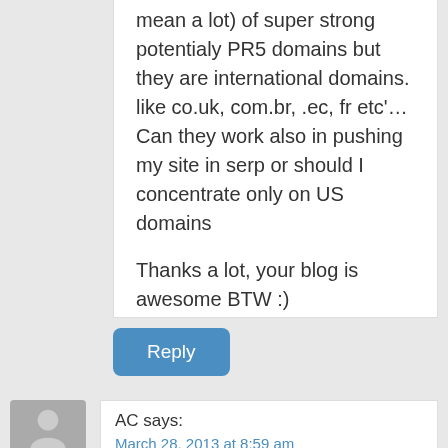mean a lot) of super strong potentialy PR5 domains but they are international domains.
like co.uk, com.br, .ec, fr etc'…
Can they work also in pushing my site in serp or should I concentrate only on US domains

Thanks a lot, your blog is awesome BTW :)
Reply
AC says:
March 28, 2013 at 8:59 am